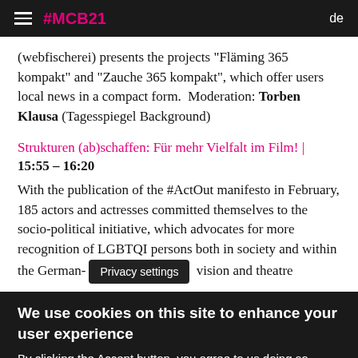#MCB21 | de
(webfischerei) presents the projects "Fläming 365 kompakt" and "Zauche 365 kompakt", which offer users local news in a compact form.  Moderation: Torben Klausa (Tagesspiegel Background)
Strukturen (ab)schaffen: Für mehr Vielfalt im Film! | 15:55 – 16:20
With the publication of the #ActOut manifesto in February, 185 actors and actresses committed themselves to the socio-political initiative, which advocates for more recognition of LGBTQI persons both in society and within the German- [Privacy settings] vision and theatre
We use cookies on this site to enhance your user experience
By clicking the Accept button, you agree to us doing so. More info
Accept | No, thanks